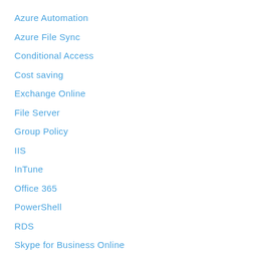Azure Automation
Azure File Sync
Conditional Access
Cost saving
Exchange Online
File Server
Group Policy
IIS
InTune
Office 365
PowerShell
RDS
Skype for Business Online